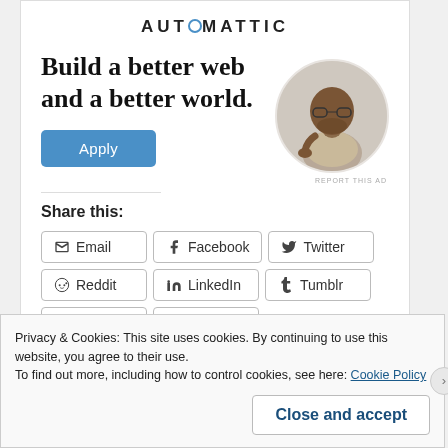[Figure (logo): Automattic logo text in uppercase letters with a circled 'o' character]
Build a better web and a better world.
[Figure (illustration): Circular portrait photo of a man resting his chin on his hand, looking thoughtful, seated at a desk]
REPORT THIS AD
Share this:
Email  Facebook  Twitter  Reddit  LinkedIn  Tumblr  Pinterest  Pocket
Privacy & Cookies: This site uses cookies. By continuing to use this website, you agree to their use.
To find out more, including how to control cookies, see here: Cookie Policy